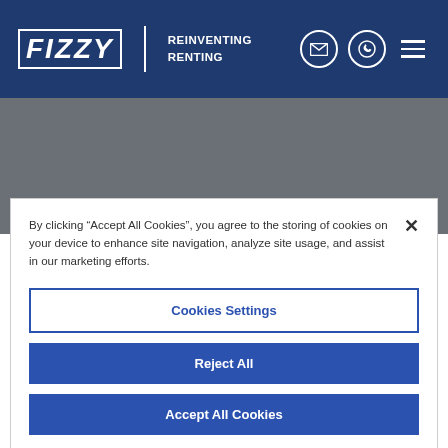[Figure (logo): Fizzy Living logo with stylized FIZZY text in white italic on dark navy background, with tagline REINVENTING RENTING, and navigation icons for email, phone, and menu]
[Figure (screenshot): Grey hero banner area with white bold uppercase text FIZZY LIVING at the bottom left]
By clicking “Accept All Cookies”, you agree to the storing of cookies on your device to enhance site navigation, analyze site usage, and assist in our marketing efforts.
Cookies Settings
Reject All
Accept All Cookies